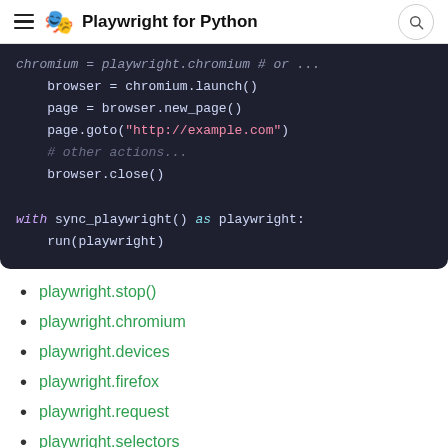Playwright for Python
[Figure (screenshot): Dark-themed code block showing Python Playwright code: chromium = playwright.chromium # or 'firefox' or 'webkit', browser = chromium.launch(), page = browser.new_page(), page.goto('http://example.com'), # other actions..., browser.close(), with sync_playwright() as playwright: run(playwright)]
playwright.stop()
playwright.chromium
playwright.devices
playwright.firefox
playwright.request
playwright.selectors